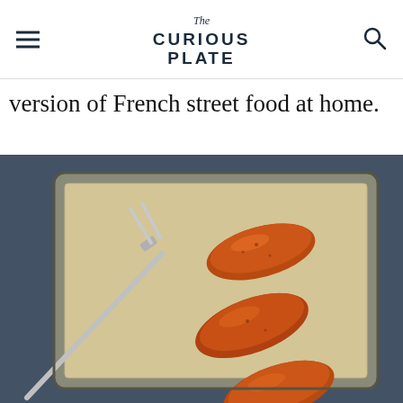The Curious Plate
version of French street food at home.
[Figure (photo): Overhead view of three glossy browned sausages on a parchment-lined metal baking sheet, with a two-pronged carving fork resting to the left, all on a dark blue-gray background.]